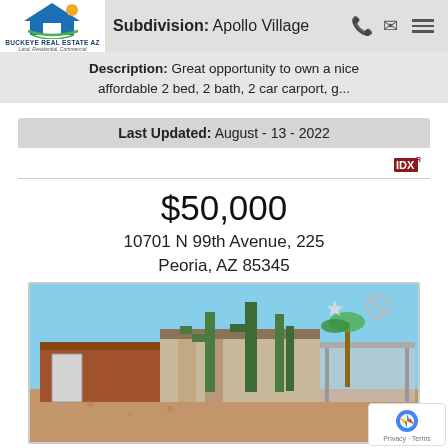Subdivision: Apollo Village
Description: Great opportunity to own a nice affordable 2 bed, 2 bath, 2 car carport, g...
Last Updated: August - 13 - 2022
$50,000
10701 N 99th Avenue, 225
Peoria, AZ 85345
[Figure (photo): Exterior photo of a single-story home with desert landscaping including tall cacti and gravel, with a carport visible on the right side.]